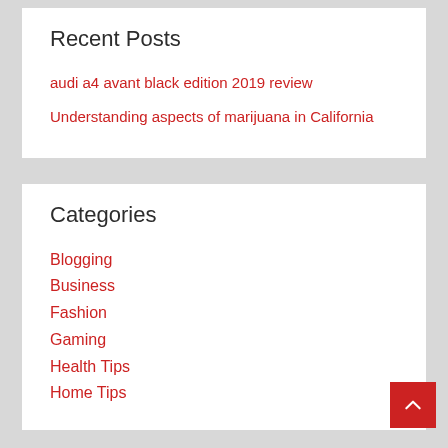Recent Posts
audi a4 avant black edition 2019 review
Understanding aspects of marijuana in California
Categories
Blogging
Business
Fashion
Gaming
Health Tips
Home Tips